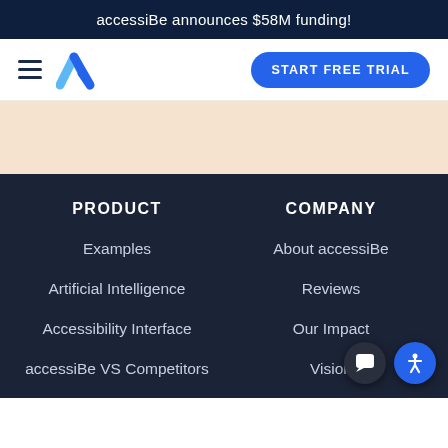accessiBe announces $58M funding!
[Figure (logo): accessiBe logo with hamburger menu icon and blue checkmark/W logo]
START FREE TRIAL
[Figure (illustration): Peach/salmon colored hero section background area]
PRODUCT
COMPANY
Examples
About accessiBe
Artificial Intelligence
Reviews
Accessibility Interface
Our Impact
accessiBe VS Competitors
Vision